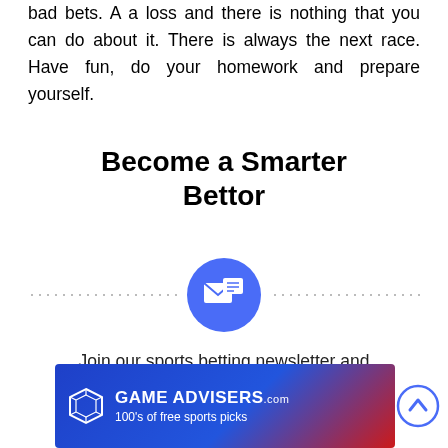bad bets. A a loss and there is nothing that you can do about it. There is always the next race. Have fun, do your homework and prepare yourself.
Become a Smarter Bettor
[Figure (illustration): Blue circle icon with envelope/mail and chat bubble symbols, flanked by horizontal dotted lines on both sides]
Join our sports betting newsletter and start betting the smart way!
Subscribe
[Figure (logo): Game Advisers .com banner with blue and red background, geometric logo, and tagline '100's of free sports picks']